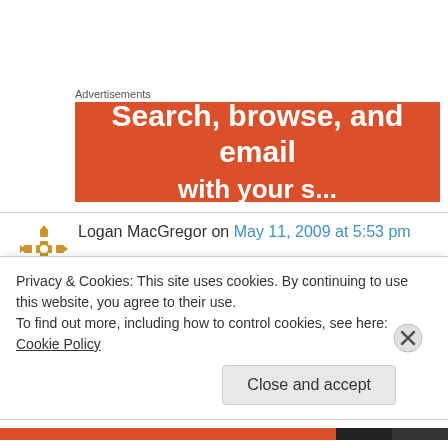Advertisements
[Figure (other): Orange advertisement banner with text 'Search, browse, and email']
Logan MacGregor on May 11, 2009 at 5:53 pm
The legs are sure fancy, but I just use concrete blocks for my hives. This means no wood-t0-ground contact so I don't have to deal with rot
Privacy & Cookies: This site uses cookies. By continuing to use this website, you agree to their use.
To find out more, including how to control cookies, see here: Cookie Policy